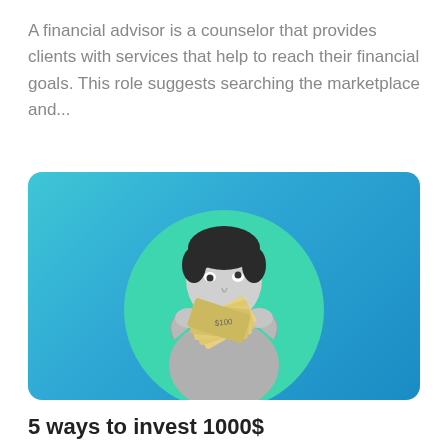A financial advisor is a counselor that provides clients with services that help to reach their financial goals. This role suggests searching the marketplace and...
[Figure (illustration): A man in grayscale holding a fan of dollar bills in front of his face, looking up with a surprised or curious expression. He is posed against a teal/green circular background, set on a blue gradient rounded-rectangle card.]
5 ways to invest 1000$